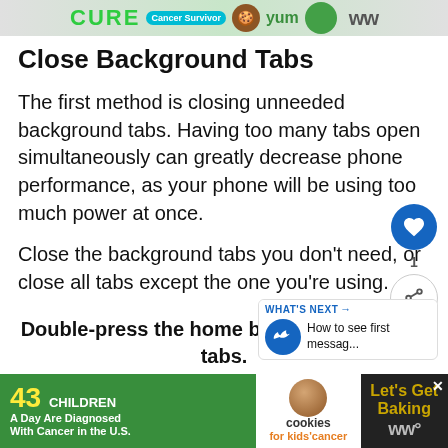[Figure (screenshot): Top advertisement banner with CURE Cancer Survivor branding, green and teal colors]
Close Background Tabs
The first method is closing unneeded background tabs. Having too many tabs open simultaneously can greatly decrease phone performance, as your phone will be using too much power at once.
Close the background tabs you don't need, or close all tabs except the one you're using.
[Figure (screenshot): Floating action buttons: heart/like button with count 1, and share button]
Double-press the home button to see open tabs.
[Figure (screenshot): WHAT'S NEXT panel: How to see first messag...]
[Figure (screenshot): Bottom advertisement: 43 CHILDREN A Day Are Diagnosed With Cancer in the U.S. | cookies for kids cancer | Let's Get Baking]